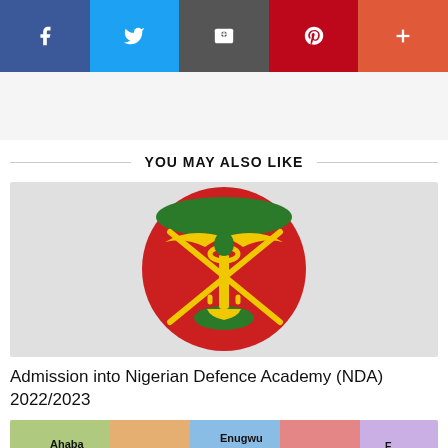[Figure (infographic): Social media share buttons bar: Facebook (blue), Twitter (light blue), Email (dark grey), Pinterest (red), Plus/More (orange-red)]
YOU MAY ALSO LIKE
[Figure (logo): Nigerian Defence Academy (NDA) circular crest/emblem with red background, green top band, and yellow crossed sword, anchor and eagle insignia]
Admission into Nigerian Defence Academy (NDA) 2022/2023
[Figure (map): Partial map of Nigeria showing regions including Ahaba, Enugwu, Ika labels in various colors]